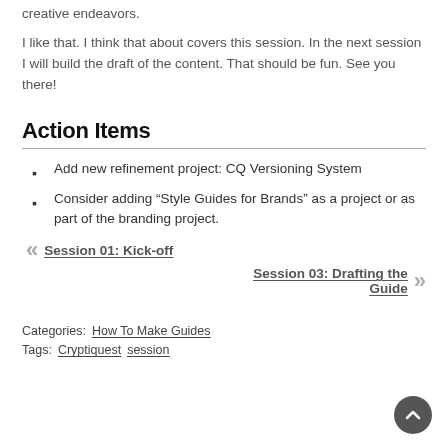creative endeavors.
I like that. I think that about covers this session. In the next session I will build the draft of the content. That should be fun. See you there!
Action Items
Add new refinement project: CQ Versioning System
Consider adding “Style Guides for Brands” as a project or as part of the branding project.
« Session 01: Kick-off
Session 03: Drafting the Guide »
Categories:  How To Make Guides
Tags:  Cryptiquest  session